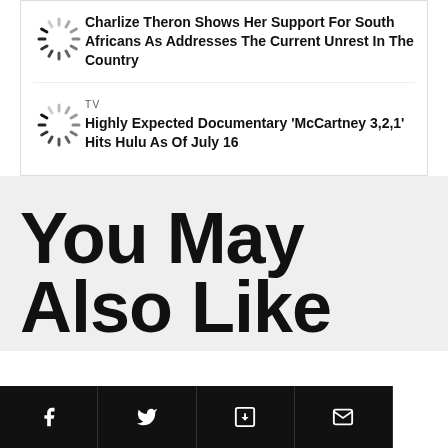Charlize Theron Shows Her Support For South Africans As Addresses The Current Unrest In The Country
TV
Highly Expected Documentary 'McCartney 3,2,1' Hits Hulu As Of July 16
You May Also Like